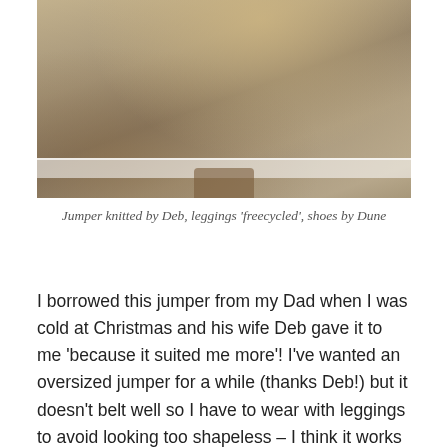[Figure (photo): Partial photo of a person wearing a gold/yellow oversized knitted jumper, sitting on or near a chair, photographed from above. Visible are legs in dark leggings, gold shoes, and a carpeted floor with white baseboard.]
Jumper knitted by Deb, leggings 'freecycled', shoes by Dune
I borrowed this jumper from my Dad when I was cold at Christmas and his wife Deb gave it to me 'because it suited me more'! I've wanted an oversized jumper for a while (thanks Deb!) but it doesn't belt well so I have to wear with leggings to avoid looking too shapeless – I think it works though. The American Apparel style leggings were a free find at a Friends of the Earth Freecycle